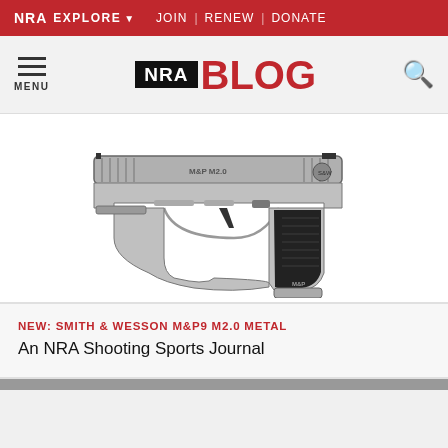NRA EXPLORE ∨  JOIN | RENEW | DONATE
[Figure (logo): NRA BLOG logo with hamburger menu icon on left and search icon on right]
[Figure (photo): Smith & Wesson M&P9 M2.0 METAL semi-automatic pistol shown in profile view, silver/metallic finish with black grip panels]
NEW: SMITH & WESSON M&P9 M2.0 METAL
An NRA Shooting Sports Journal